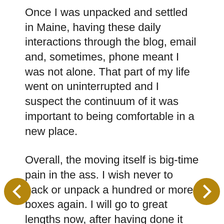Once I was unpacked and settled in Maine, having these daily interactions through the blog, email and, sometimes, phone meant I was not alone. That part of my life went on uninterrupted and I suspect the continuum of it was important to being comfortable in a new place.
Overall, the moving itself is big-time pain in the ass. I wish never to pack or unpack a hundred or more boxes again. I will go to great lengths now, after having done it twice in four years, to never do it again. So choose your destination carefully.